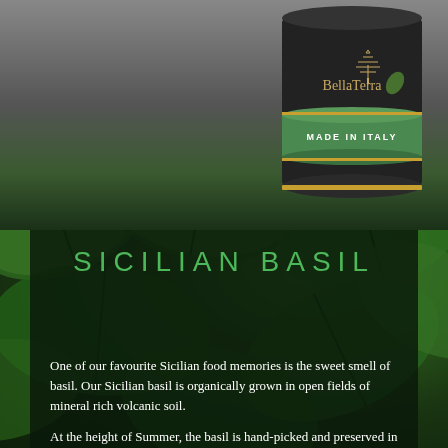[Figure (photo): Product photo of BellaTerra brand tin can with green label reading MADE IN ITALY, set against a dark background with blurred basil leaves]
SICILIAN BASIL
One of our favourite Sicilian food memories is the sweet smell of basil. Our Sicilian basil is organically grown in open fields of mineral rich volcanic soil.
At the height of Summer, the basil is hand-picked and preserved in salt and olive oil. Once the olive harvest begins in October, our preserved basil is